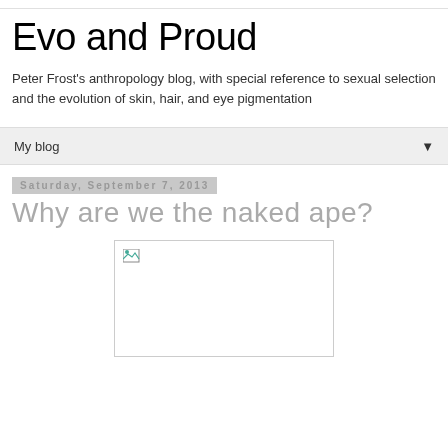Evo and Proud
Peter Frost's anthropology blog, with special reference to sexual selection and the evolution of skin, hair, and eye pigmentation
My blog
Saturday, September 7, 2013
Why are we the naked ape?
[Figure (photo): Broken image placeholder with small icon in top-left corner]